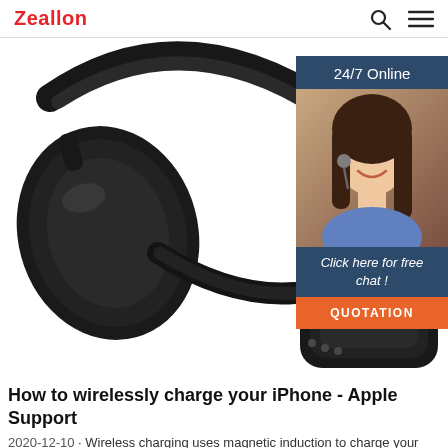Zeallon
[Figure (photo): Close-up photo of black over-ear wireless headphones against a white background, with a customer service chat widget overlay on the right side showing '24/7 Online', a smiling female customer service representative wearing a headset, 'Click here for free chat!' text, and an orange QUOTATION button.]
How to wirelessly charge your iPhone - Apple Support
2020-12-10 · Wireless charging uses magnetic induction to charge your iPhone. Don't place anything between your iPhone and the charger. Magnetic mounts, magnetic cases, or ...